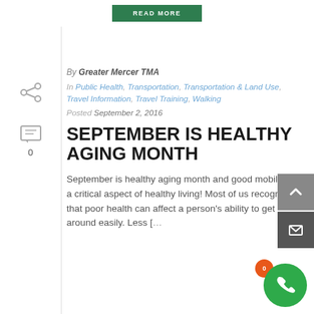By Greater Mercer TMA
In Public Health, Transportation, Transportation & Land Use, Travel Information, Travel Training, Walking
Posted September 2, 2016
SEPTEMBER IS HEALTHY AGING MONTH
September is healthy aging month and good mobility is a critical aspect of healthy living! Most of us recognize that poor health can affect a person's ability to get around easily. Less [...]